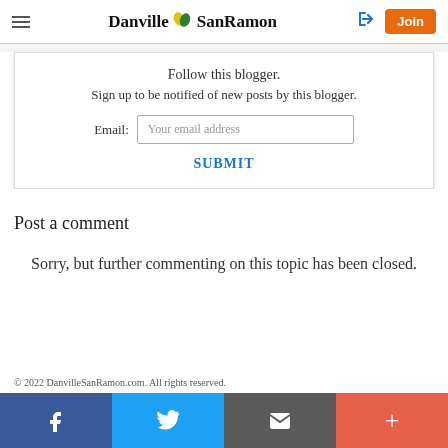Danville SanRamon — Join
Follow this blogger.
Sign up to be notified of new posts by this blogger.
Email: Your email address
SUBMIT
Post a comment
Sorry, but further commenting on this topic has been closed.
© 2022 DanvilleSanRamon.com. All rights reserved.